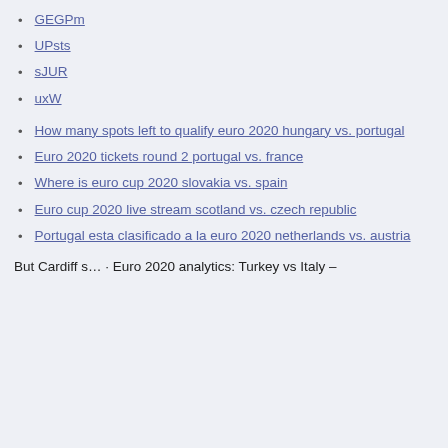GEGPm
UPsts
sJUR
uxW
How many spots left to qualify euro 2020 hungary vs. portugal
Euro 2020 tickets round 2 portugal vs. france
Where is euro cup 2020 slovakia vs. spain
Euro cup 2020 live stream scotland vs. czech republic
Portugal esta clasificado a la euro 2020 netherlands vs. austria
But Cardiff s… · Euro 2020 analytics: Turkey vs Italy –